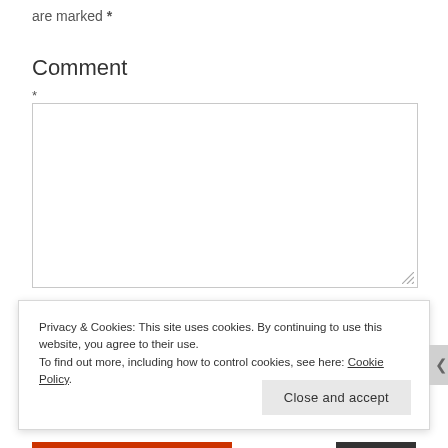are marked *
Comment
*
[Figure (screenshot): Empty comment textarea input box with resize handle in bottom-right corner]
Privacy & Cookies: This site uses cookies. By continuing to use this website, you agree to their use. To find out more, including how to control cookies, see here: Cookie Policy
Close and accept